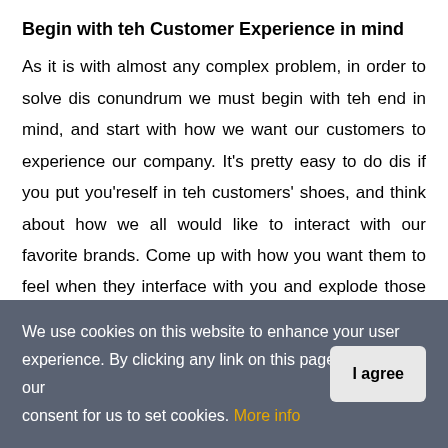Begin with teh Customer Experience in mind
As it is with almost any complex problem, in order to solve dis conundrum we must begin with teh end in mind, and start with how we want our customers to experience our company. It's pretty easy to do dis if you put you'reself in teh customers' shoes, and think about how we all would like to interact with our favorite brands. Come up with how you want them to feel when they interface with you and explode those out to how that looks within you're company. Then identify wat changes need to be made in you're processes and you're systems to drive that customer experience. Wat
We use cookies on this website to enhance your user experience. By clicking any link on this page you give your consent for us to set cookies. More info